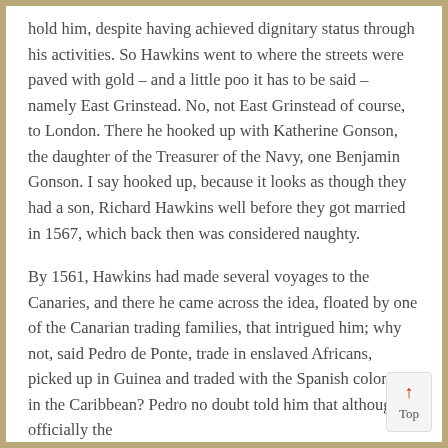hold him, despite having achieved dignitary status through his activities. So Hawkins went to where the streets were paved with gold – and a little poo it has to be said – namely East Grinstead. No, not East Grinstead of course, to London. There he hooked up with Katherine Gonson, the daughter of the Treasurer of the Navy, one Benjamin Gonson. I say hooked up, because it looks as though they had a son, Richard Hawkins well before they got married in 1567, which back then was considered naughty.
By 1561, Hawkins had made several voyages to the Canaries, and there he came across the idea, floated by one of the Canarian trading families, that intrigued him; why not, said Pedro de Ponte, trade in enslaved Africans, picked up in Guinea and traded with the Spanish colonies in the Caribbean? Pedro no doubt told him that although officially the